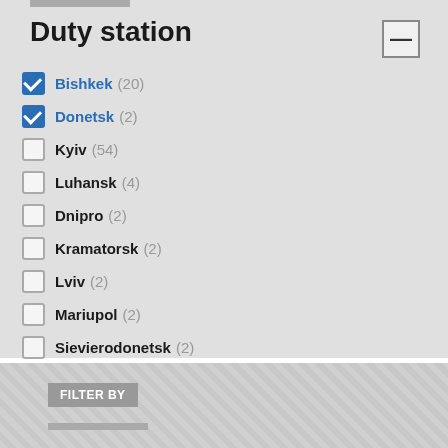Duty station
Bishkek (20) — checked
Donetsk (2) — checked
Kyiv (54)
Luhansk (4)
Dnipro (2)
Kramatorsk (2)
Lviv (2)
Mariupol (2)
Sievierodonetsk (2)
Ukraine (2)
Ivano-Frankivsk (1)
Sievierodonetsk (1)
FILTER BY